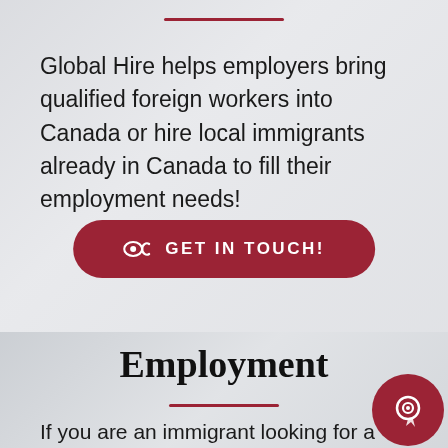Global Hire helps employers bring qualified foreign workers into Canada or hire local immigrants already in Canada to fill their employment needs!
GET IN TOUCH!
Employment
If you are an immigrant looking for a job or want to come to Canada with a job already